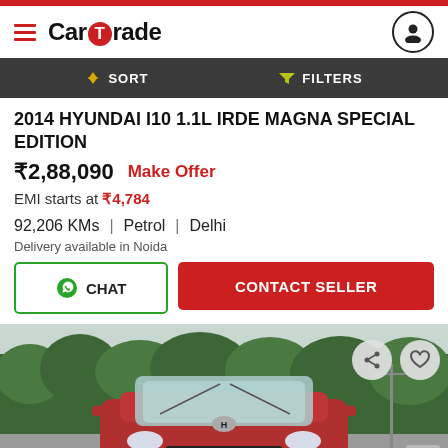CarTrade
2014 HYUNDAI I10 1.1L IRDE MAGNA SPECIAL EDITION
₹2,88,090  Make Offer
EMI starts at ₹4,784
92,206 KMs  |  Petrol  |  Delhi
Delivery available in Noida
[Figure (photo): Front view of a red Hyundai i10 car parked on a road with trees in the background]